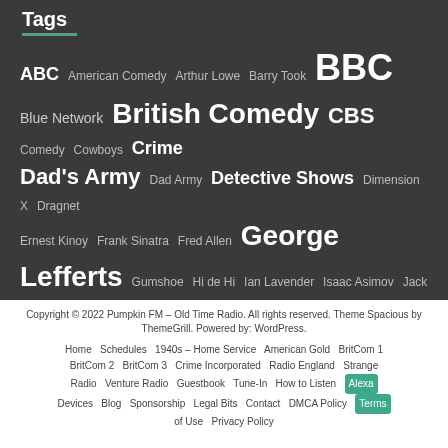Tags
[Figure (infographic): Tag cloud showing various radio show tags in different font sizes indicating popularity: ABC, American Comedy, Arthur Lowe, Barry Took, BBC, Blue Network, British Comedy, CBS, Comedy, Cowboys, Crime, Dad's Army, Dad Army, Detective Shows, Dimension X, Dragnet, Ernest Kinoy, Frank Sinatra, Fred Allen, George Lefferts, Gumshoe, Hi de Hi, Ian Lavender, Isaac Asimov, Jack Webb, Jon Pertwee, Kenneth Williams, London, Men From the Ministry, Michael Redgrave, Mutual, Mutual Radio Network, NBC, NBC Radio, Old Time Radio, Orson Welles, OTR, Radio, Ray Bradbury, Richard Murdoch, shows, Stephen Lewis, Suspense, Virginia Gregg, X-Minus One]
Copyright © 2022 Pumpkin FM – Old Time Radio. All rights reserved. Theme Spacious by ThemeGrill. Powered by: WordPress.
Home Schedules 1940s – Home Service American Gold BritCom 1 BritCom 2 BritCom 3 Crime Incorporated Radio England Strange Radio Venture Radio Guestbook Tune-In How to Listen Alexa Devices Blog Sponsorship Legal Bits Contact DMCA Policy Terms of Use Privacy Policy